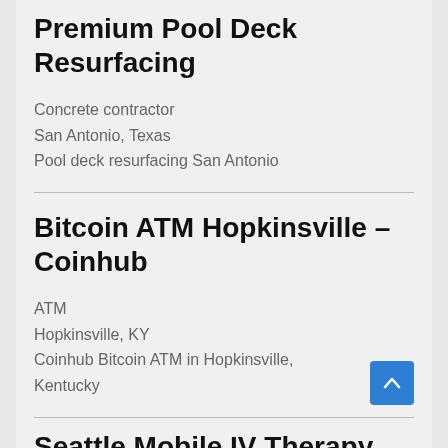Premium Pool Deck Resurfacing
Concrete contractor
San Antonio, Texas
Pool deck resurfacing San Antonio
Bitcoin ATM Hopkinsville – Coinhub
ATM
Hopkinsville, KY
Coinhub Bitcoin ATM in Hopkinsville, Kentucky
Seattle Mobile IV Therapy